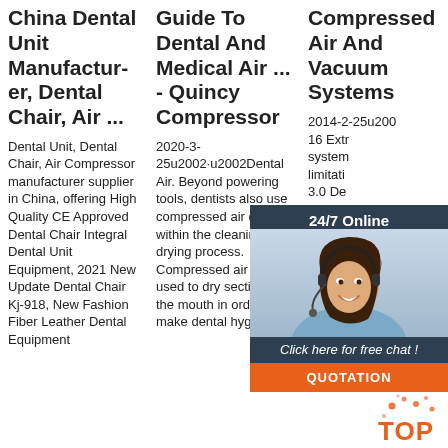China Dental Unit Manufacturer, Dental Chair, Air ...
Dental Unit, Dental Chair, Air Compressor manufacturer supplier in China, offering High Quality CE Approved Dental Chair Integral Dental Unit Equipment, 2021 New Update Dental Chair Kj-918, New Fashion Fiber Leather Dental Equipment
Guide To Dental And Medical Air ... - Quincy Compressor
2020-3-25u2002·u2002Dental Air. Beyond powering tools, dentists also use compressed air directly within the cleaning and drying process. Compressed air is used to dry sections of the mouth in order to make dental hygiene
Compressed Air And Vacuum Systems
2014-2-25u200 16 Extr system limitati 3.0 De compre system 3.1 Sta obligat The ne quality dental air 3.13 Dental air quality standard 3.15 Air treatment required to meet the standard 3.16
[Figure (photo): Chat widget with woman wearing headset, dark blue background, 24/7 Online text, Click here for free chat button, and QUOTATION button in orange]
[Figure (logo): TOP logo with orange dots/sparks in bottom right corner]